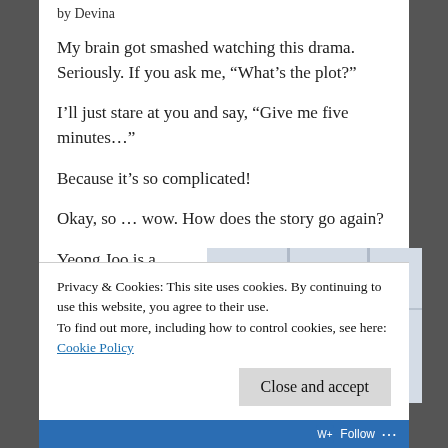by Devina
My brain got smashed watching this drama. Seriously. If you ask me, “What’s the plot?”
I’ll just stare at you and say, “Give me five minutes…”
Because it’s so complicated!
Okay, so … wow. How does the story go again?
Yeong Joo is a young
[Figure (photo): A young woman with her hair pulled back, wearing a light-colored top, standing indoors with a blurred background of windows.]
Privacy & Cookies: This site uses cookies. By continuing to use this website, you agree to their use.
To find out more, including how to control cookies, see here:
Cookie Policy
Close and accept